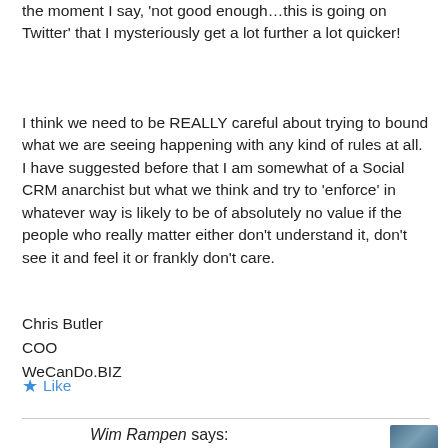the moment I say, 'not good enough…this is going on Twitter' that I mysteriously get a lot further a lot quicker!
I think we need to be REALLY careful about trying to bound what we are seeing happening with any kind of rules at all. I have suggested before that I am somewhat of a Social CRM anarchist but what we think and try to 'enforce' in whatever way is likely to be of absolutely no value if the people who really matter either don't understand it, don't see it and feel it or frankly don't care.
Chris Butler
COO
WeCanDo.BIZ
★ Like
Wim Rampen says: